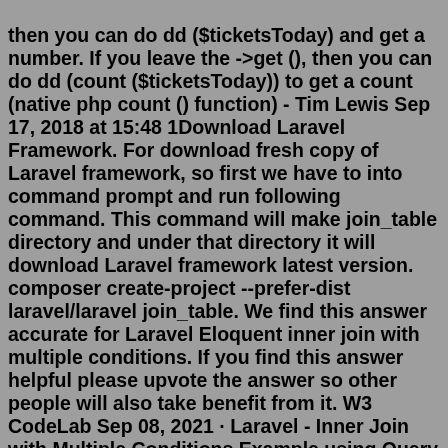then you can do dd ($ticketsToday) and get a number. If you leave the ->get (), then you can do dd (count ($ticketsToday)) to get a count (native php count () function) - Tim Lewis Sep 17, 2018 at 15:48 1Download Laravel Framework. For download fresh copy of Laravel framework, so first we have to into command prompt and run following command. This command will make join_table directory and under that directory it will download Laravel framework latest version. composer create-project --prefer-dist laravel/laravel join_table. We find this answer accurate for Laravel Eloquent inner join with multiple conditions. If you find this answer helpful please upvote the answer so other people will also take benefit from it. W3 CodeLab Sep 08, 2021 · Laravel - Inner Join with Multiple Conditions Example using Query Builder - ItSolutionStuff.com. thumb_up. star_border STAR. photo_camera ... While building your Laravel query whether using Eloquent Query or DB Query builder, you often have to use multiple where conditions. Laravel provides